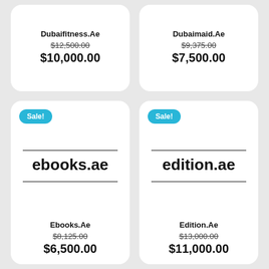Dubaifitness.Ae
$12,500.00 (strikethrough)
$10,000.00
Dubaimaid.Ae
$9,375.00 (strikethrough)
$7,500.00
Sale!
ebooks.ae
Ebooks.Ae
$8,125.00 (strikethrough)
$6,500.00
Sale!
edition.ae
Edition.Ae
$13,000.00 (strikethrough)
$11,000.00